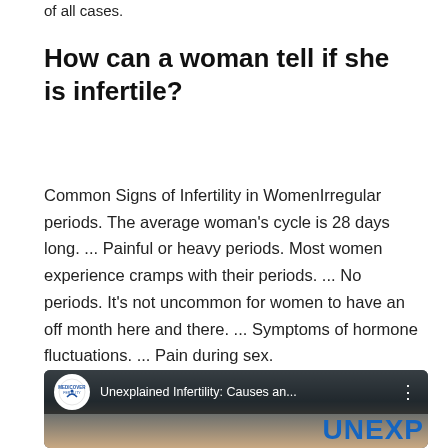of all cases.
How can a woman tell if she is infertile?
Common Signs of Infertility in WomenIrregular periods. The average woman's cycle is 28 days long. ... Painful or heavy periods. Most women experience cramps with their periods. ... No periods. It's not uncommon for women to have an off month here and there. ... Symptoms of hormone fluctuations. ... Pain during sex.
[Figure (screenshot): YouTube video thumbnail showing Medicover Fertility logo and title 'Unexplained Infertility: Causes an...' with partial text 'UNEXP' visible at bottom right]